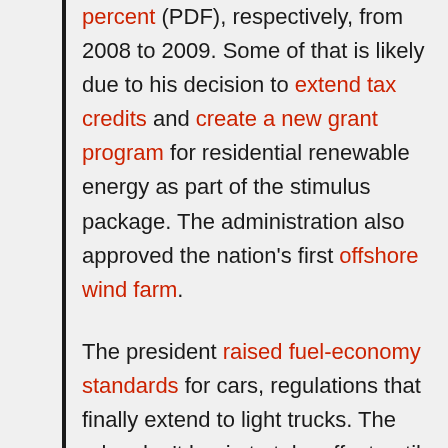percent (PDF), respectively, from 2008 to 2009. Some of that is likely due to his decision to extend tax credits and create a new grant program for residential renewable energy as part of the stimulus package. The administration also approved the nation's first offshore wind farm. The president raised fuel-economy standards for cars, regulations that finally extend to light trucks. The rules don't begin to take effect until 2012, so there's no immediate impact in greenhouse-gas emissions. But the regulations are ultimately expected to ease carbon